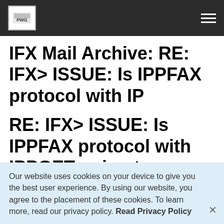PWG
IFX Mail Archive: RE: IFX&gt; ISSUE: Is IPPFAX protocol with IP
RE: IFX> ISSUE: Is IPPFAX protocol with IPPGET going to use the r e-direct mechanism?
Our website uses cookies on your device to give you the best user experience. By using our website, you agree to the placement of these cookies. To learn more, read our privacy policy. Read Privacy Policy